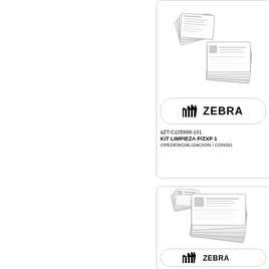[Figure (photo): Top product card showing Zebra cleaning kit packets (small cards fanned out and a stack of larger cleaning envelopes), Zebra logo badge, product SKU aZT-C105999-101, name KIT LIMPIEZA P/ZXP 1, description CREDENCIALIZACION / CONSU]
[Figure (photo): Bottom product card showing Zebra cleaning kit packets (fanned small cards and larger cleaning envelopes), partial Zebra logo badge visible at bottom]